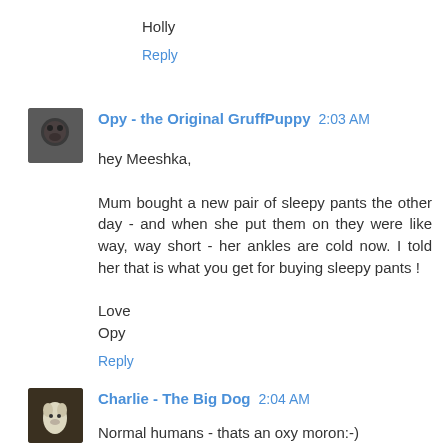Holly
Reply
Opy - the Original GruffPuppy 2:03 AM
hey Meeshka,

Mum bought a new pair of sleepy pants the other day - and when she put them on they were like way, way short - her ankles are cold now. I told her that is what you get for buying sleepy pants !

Love
Opy
Reply
Charlie - The Big Dog 2:04 AM
Normal humans - thats an oxy moron:-)